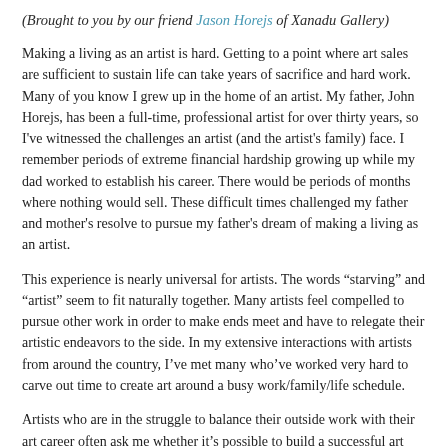(Brought to you by our friend Jason Horejs of Xanadu Gallery)
Making a living as an artist is hard. Getting to a point where art sales are sufficient to sustain life can take years of sacrifice and hard work. Many of you know I grew up in the home of an artist. My father, John Horejs, has been a full-time, professional artist for over thirty years, so I've witnessed the challenges an artist (and the artist's family) face. I remember periods of extreme financial hardship growing up while my dad worked to establish his career. There would be periods of months where nothing would sell. These difficult times challenged my father and mother's resolve to pursue my father's dream of making a living as an artist.
This experience is nearly universal for artists. The words “starving” and “artist” seem to fit naturally together. Many artists feel compelled to pursue other work in order to make ends meet and have to relegate their artistic endeavors to the side. In my extensive interactions with artists from around the country, I’ve met many who’ve worked very hard to carve out time to create art around a busy work/family/life schedule.
Artists who are in the struggle to balance their outside work with their art career often ask me whether it’s possible to build a successful art career while engaged in another job. This is a difficult question to answer. The definition of “success” can vary